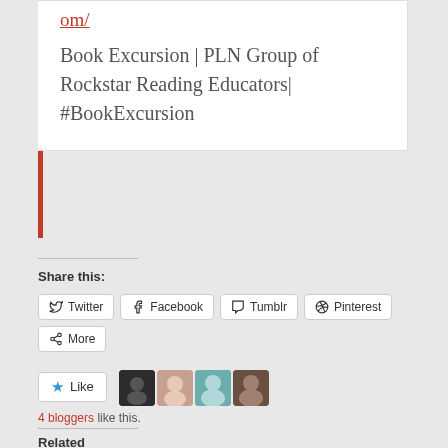om/
Book Excursion | PLN Group of Rockstar Reading Educators| #BookExcursion
Share this:
Twitter
Facebook
Tumblr
Pinterest
More
4 bloggers like this.
Related